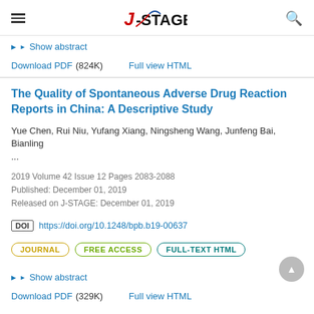J-STAGE
Show abstract
Download PDF (824K)   Full view HTML
The Quality of Spontaneous Adverse Drug Reaction Reports in China: A Descriptive Study
Yue Chen, Rui Niu, Yufang Xiang, Ningsheng Wang, Junfeng Bai, Bianling ...
2019 Volume 42 Issue 12 Pages 2083-2088
Published: December 01, 2019
Released on J-STAGE: December 01, 2019
DOI https://doi.org/10.1248/bpb.b19-00637
JOURNAL   FREE ACCESS   FULL-TEXT HTML
Show abstract
Download PDF (329K)   Full view HTML